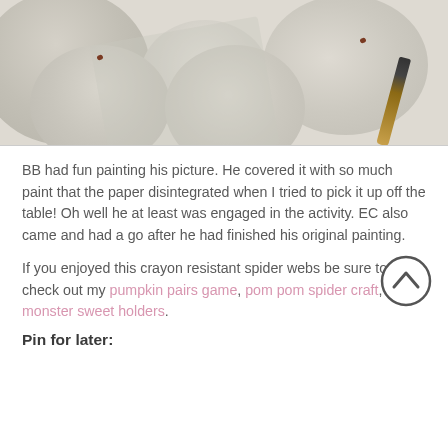[Figure (photo): Photo of rounded stone/pebble shapes painted in pale beige and grey watercolors, with a paintbrush and white paper visible, shot from above on a light background.]
BB had fun painting his picture. He covered it with so much paint that the paper disintegrated when I tried to pick it up off the table! Oh well he at least was engaged in the activity. EC also came and had a go after he had finished his original painting.
If you enjoyed this crayon resistant spider webs be sure to check out my pumpkin pairs game, pom pom spider craft, and monster sweet holders.
Pin for later: